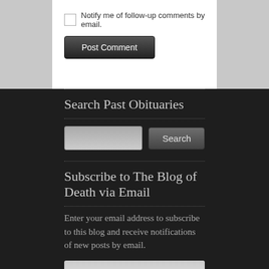Notify me of follow-up comments by email.
Post Comment
Search Past Obituaries
Search
Subscribe to The Blog of Death via Email
Enter your email address to subscribe to this blog and receive notifications of new posts by email.
Email Address